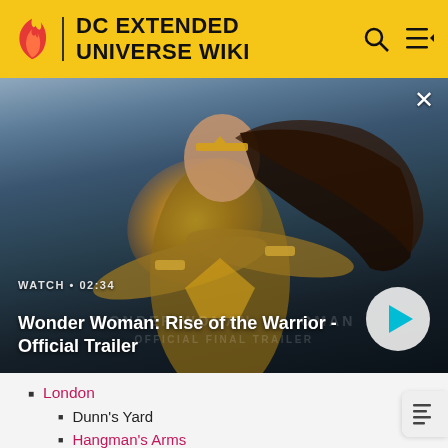DC EXTENDED UNIVERSE WIKI
[Figure (screenshot): Wonder Woman movie promotional image with cross-armed bracelet deflection pose. Video thumbnail overlay with play button, runtime 02:34, title 'Wonder Woman: Rise of the Warrior - Official Trailer', watermark 'WONDER WOMAN OFFICIAL FINAL TRAILER']
London
Dunn's Yard
Hangman's Arms
King's Cross Station
Selfridge & Co.